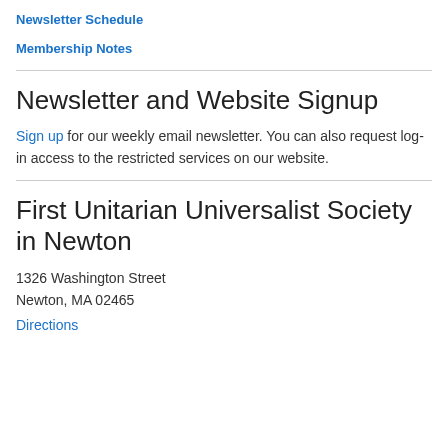Newsletter Schedule
Membership Notes
Newsletter and Website Signup
Sign up for our weekly email newsletter. You can also request log-in access to the restricted services on our website.
First Unitarian Universalist Society in Newton
1326 Washington Street
Newton, MA 02465
Directions